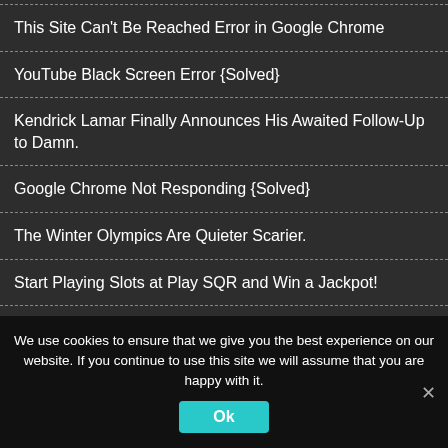This Site Can't Be Reached Error in Google Chrome
YouTube Black Screen Error {Solved}
Kendrick Lamar Finally Announces His Awaited Follow-Up to Damn.
Google Chrome Not Responding {Solved}
The Winter Olympics Are Quieter Scarier.
Start Playing Slots at Play SQR and Win a Jackpot!
400 Bad Request Error {Solved}
We use cookies to ensure that we give you the best experience on our website. If you continue to use this site we will assume that you are happy with it.